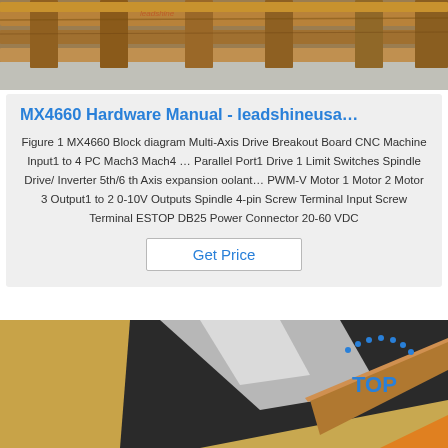[Figure (photo): Top portion of page showing wooden pallets/timber beams on a concrete floor, photographed from above]
MX4660 Hardware Manual - leadshineusa…
Figure 1 MX4660 Block diagram Multi-Axis Drive Breakout Board CNC Machine Input1 to 4 PC Mach3 Mach4 … Parallel Port1 Drive 1 Limit Switches Spindle Drive/ Inverter 5th/6 th Axis expansion oolant… PWM-V Motor 1 Motor 2 Motor 3 Output1 to 2 0-10V Outputs Spindle 4-pin Screw Terminal Input Screw Terminal ESTOP DB25 Power Connector 20-60 VDC
[Figure (other): Get Price button — white rectangular button with blue text and gray border]
[Figure (photo): Bottom portion of page showing what appears to be cardboard and metallic/reflective sheet material with a blue TOP watermark logo in the lower right corner]